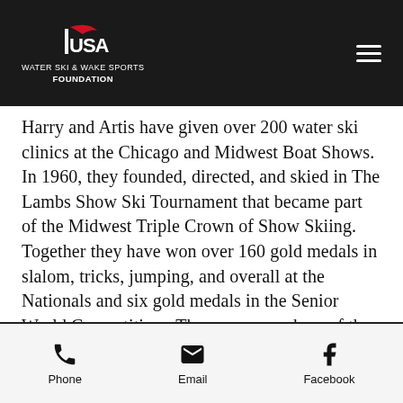USA Water Ski & Wake Sports Foundation
Harry and Artis have given over 200 water ski clinics at the Chicago and Midwest Boat Shows.  In 1960, they founded, directed, and skied in The Lambs Show Ski Tournament that became part of the Midwest Triple Crown of Show Skiing.  Together they have won over 160 gold medals in slalom, tricks, jumping, and overall at the Nationals and six gold medals in the Senior World Competition.  They were members of the first Senior World Team.  Harry was presented the USA Water Ski Foundation's Award of Distinction in 1992 and Artis in 1998.
Phone | Email | Facebook